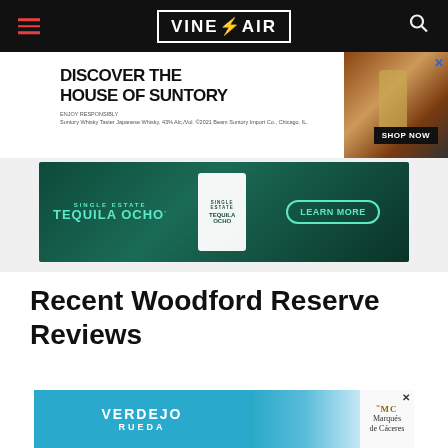VinePair
[Figure (advertisement): Discover the House of Suntory ad with bottle image and Shop Now button]
[Figure (advertisement): Tequila Ocho single estate tequila ad with teal/green background and Learn More button]
Recent Woodford Reserve Reviews
[Figure (advertisement): Verdejo Rueda and Marques de Caceres advertisement]